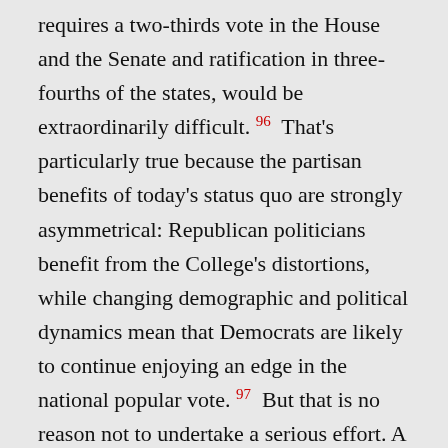requires a two-thirds vote in the House and the Senate and ratification in three-fourths of the states, would be extraordinarily difficult.96 That's particularly true because the partisan benefits of today's status quo are strongly asymmetrical: Republican politicians benefit from the College's distortions, while changing demographic and political dynamics mean that Democrats are likely to continue enjoying an edge in the national popular vote.97 But that is no reason not to undertake a serious effort. A recent article by David Pozen and Thomas Schmidt suggests that the two chambers of Congress do not need to act contemporaneously in the amendment process, so that the popular-vote amendment passed by the House in 1969 might still be live and ready for